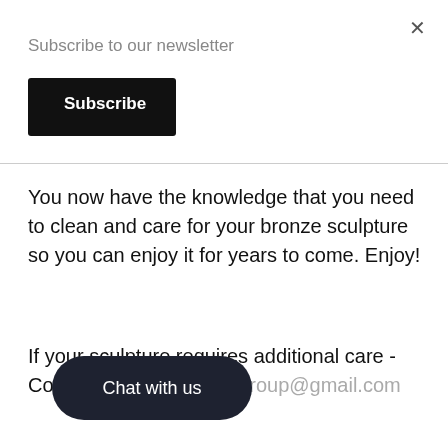×
Subscribe to our newsletter
Subscribe
You now have the knowledge that you need to clean and care for your bronze sculpture so you can enjoy it for years to come. Enjoy!
If your sculpture requires additional care - Contact us at: [email address]
Chat with us